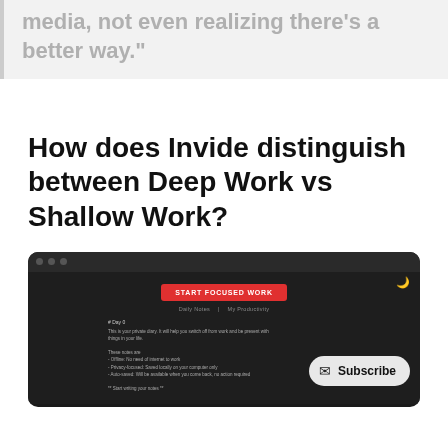media, not even realizing there's a better way."
How does Invide distinguish between Deep Work vs Shallow Work?
[Figure (screenshot): Dark-mode app screenshot showing a 'START FOCUSED WORK' button, navigation links 'Daily Notes | My Productivity', a diary entry starting with '# Day 0', and a Subscribe pill button overlay in the bottom right.]